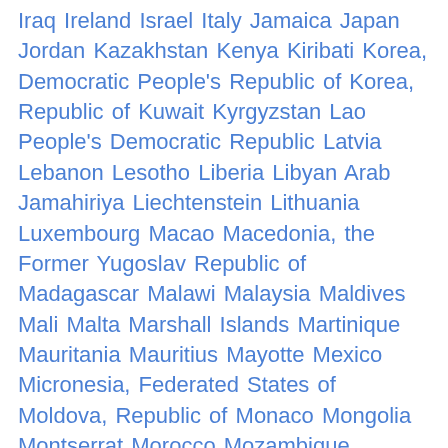Iraq Ireland Israel Italy Jamaica Japan Jordan Kazakhstan Kenya Kiribati Korea, Democratic People's Republic of Korea, Republic of Kuwait Kyrgyzstan Lao People's Democratic Republic Latvia Lebanon Lesotho Liberia Libyan Arab Jamahiriya Liechtenstein Lithuania Luxembourg Macao Macedonia, the Former Yugoslav Republic of Madagascar Malawi Malaysia Maldives Mali Malta Marshall Islands Martinique Mauritania Mauritius Mayotte Mexico Micronesia, Federated States of Moldova, Republic of Monaco Mongolia Montserrat Morocco Mozambique Myanmar Namibia Nauru Nepal Netherlands Netherlands Antilles New Caledonia New Zealand Nicaragua Niger Nigeria Niue Norfolk Island Northern Mariana Islands Norway Oman Pakistan Palau Palestinian Territory, Occupied Panama Papua New Guinea Paraguay Peru Philippines Pitcairn Poland Portugal Puerto Rico Qatar Reunion Romania Russian Federation Rwanda Saint Helena Saint Kitts and Nevis Saint Lucia Saint Pierre and Miquelon Saint Vincent and the Grenadines Samoa San Marino Sao Tome and Principe Saudi Arabia Senegal